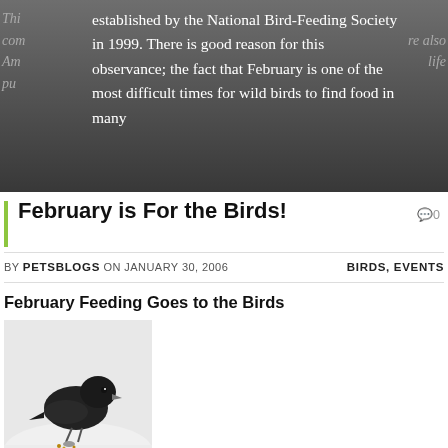established by the National Bird-Feeding Society in 1999. There is good reason for this observance; the fact that February is one of the most difficult times for wild birds to find food in many
February is For the Birds!
BY PETSBLOGS ON JANUARY 30, 2006   BIRDS, EVENTS
February Feeding Goes to the Birds
[Figure (photo): A dark bird (junco) foraging in snow]
The month of February is National Wild Bird Feeding month and this year will be the seventh time this has been observed since it was established by the National Bird-Feeding Society in 1999. There is good